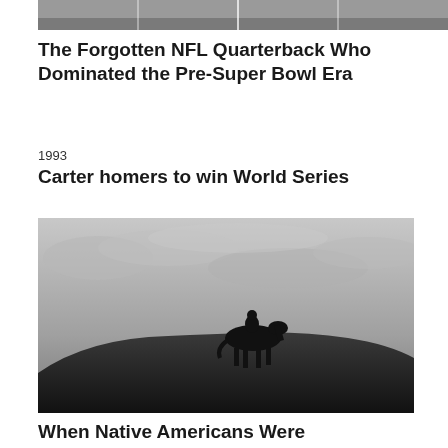[Figure (photo): Cropped black and white photo of an NFL football field/game scene, partially visible at top of page]
The Forgotten NFL Quarterback Who Dominated the Pre-Super Bowl Era
1993
Carter homers to win World Series
[Figure (photo): Black and white photograph of a lone horseback rider silhouetted on a hill against a cloudy sky]
When Native Americans Were